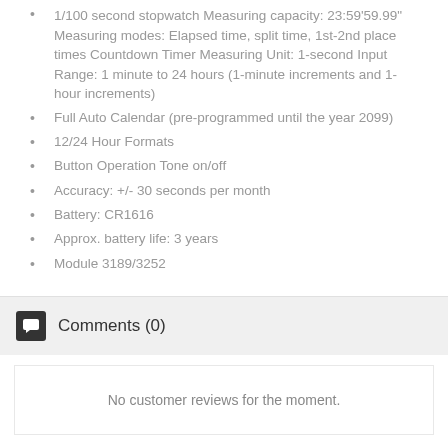1/100 second stopwatch Measuring capacity: 23:59'59.99" Measuring modes: Elapsed time, split time, 1st-2nd place times Countdown Timer Measuring Unit: 1-second Input Range: 1 minute to 24 hours (1-minute increments and 1-hour increments)
Full Auto Calendar (pre-programmed until the year 2099)
12/24 Hour Formats
Button Operation Tone on/off
Accuracy: +/- 30 seconds per month
Battery: CR1616
Approx. battery life: 3 years
Module 3189/3252
Comments (0)
No customer reviews for the moment.